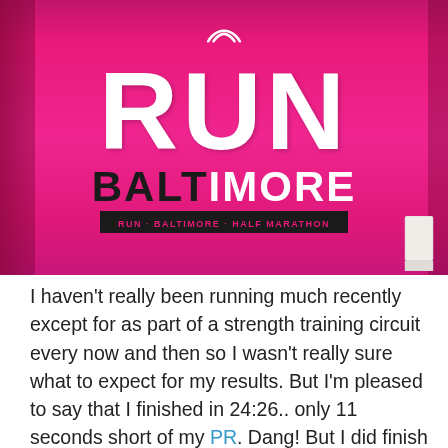[Figure (photo): A bright pink Under Armour 'Run Baltimore' running t-shirt hanging on display, with large white RUN text and BALTIMORE below it in black and white letters, with a small banner subtitle beneath]
I haven't really been running much recently except for as part of a strength training circuit every now and then so I wasn't really sure what to expect for my results. But I'm pleased to say that I finished in 24:26.. only 11 seconds short of my PR. Dang! But I did finish 10th in my division